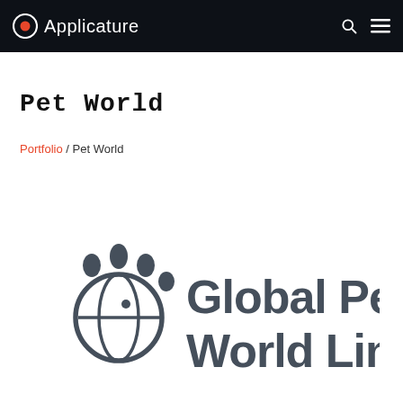Applicature
Pet World
Portfolio / Pet World
[Figure (logo): Global Pets World Limited logo — a dark grey paw print with a globe inside, next to bold dark grey text reading 'Global Pets World Limited']